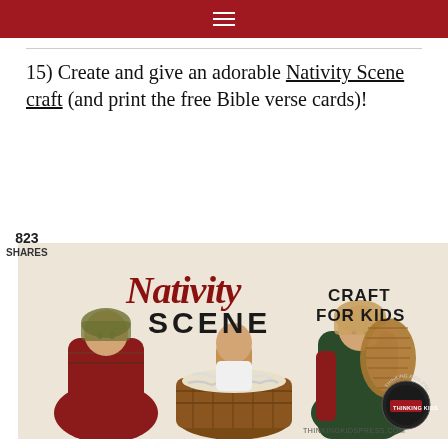≡
15) Create and give an adorable Nativity Scene craft (and print the free Bible verse cards)!
823
SHARES
[Figure (photo): Nativity Scene Craft for Kids promotional image showing peg doll nativity figures (Mary, Joseph, baby Jesus in basket) with text 'Nativity Scene Craft for Kids' and Thinking Kids Press logo and website thinkingkidspress.com]